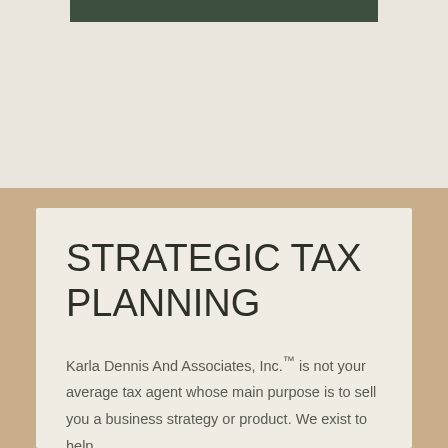[Figure (other): Dark green horizontal bar at the top center of the page, partially visible above the main content area]
STRATEGIC TAX PLANNING
Karla Dennis And Associates, Inc.™ is not your average tax agent whose main purpose is to sell you a business strategy or product. We exist to help